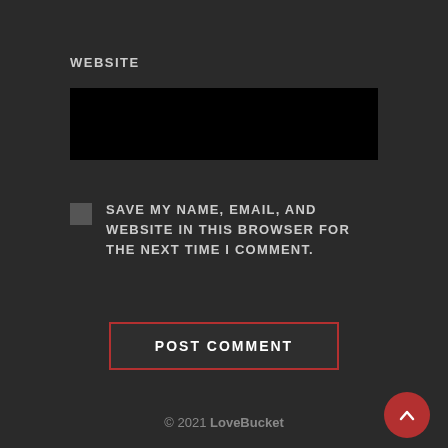WEBSITE
[Figure (screenshot): A black input field for website URL entry]
SAVE MY NAME, EMAIL, AND WEBSITE IN THIS BROWSER FOR THE NEXT TIME I COMMENT.
POST COMMENT
© 2021 LoveBucket